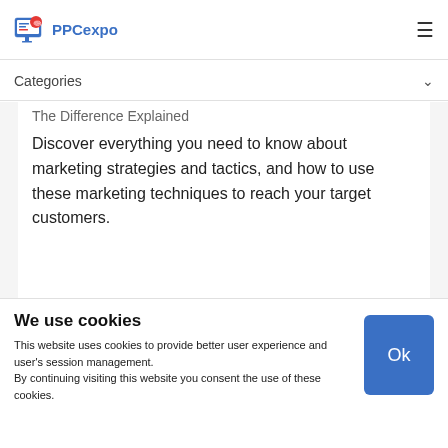PPCexpo
Categories
The Difference Explained
Discover everything you need to know about marketing strategies and tactics, and how to use these marketing techniques to reach your target customers.
We use cookies
This website uses cookies to provide better user experience and user's session management. By continuing visiting this website you consent the use of these cookies.